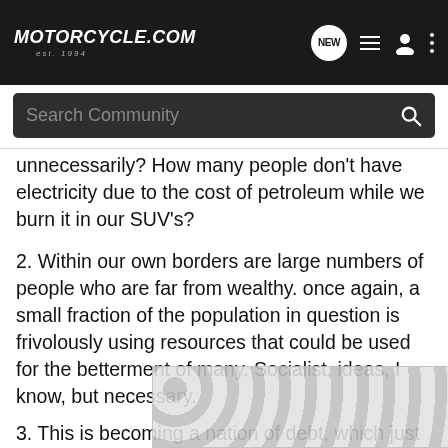Motorcycle.com est. 1994 — Navigation bar with NEW, list, user, and menu icons
Search Community
unnecessarily? How many people don't have electricity due to the cost of petroleum while we burn it in our SUV's?
2. Within our own borders are large numbers of people who are far from wealthy. once again, a small fraction of the population in question is frivolously using resources that could be used for the betterment of many. Socialist, ideas, I know, but necessary.
3. This is becoming a nation of debt, which just gives corporations more power over the people. There was a time when Americans had savings. Now, many Americans carry 5 and 6 figures of high interest debt, above and beyond the cost of their home. Many people don't have enough savings to survive [ad], not without